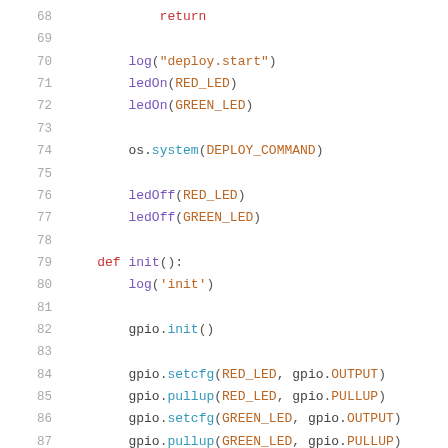68        return
69
70        log("deploy.start")
71        ledOn(RED_LED)
72        ledOn(GREEN_LED)
73
74        os.system(DEPLOY_COMMAND)
75
76        ledOff(RED_LED)
77        ledOff(GREEN_LED)
78
79    def init():
80        log('init')
81
82        gpio.init()
83
84        gpio.setcfg(RED_LED, gpio.OUTPUT)
85        gpio.pullup(RED_LED, gpio.PULLUP)
86        gpio.setcfg(GREEN_LED, gpio.OUTPUT)
87        gpio.pullup(GREEN_LED, gpio.PULLUP)
88
89        gpio.setcfg(BUTTON, gpio.INPUT)